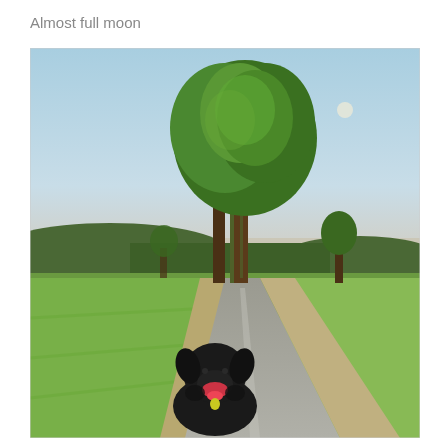Almost full moon
[Figure (photo): A black dog sitting on a rural paved path flanked by green fields. A large tree stands along the road receding into the distance. Green wooded hills are visible in the background under a hazy blue sky. A small white moon is visible in the upper right of the sky.]